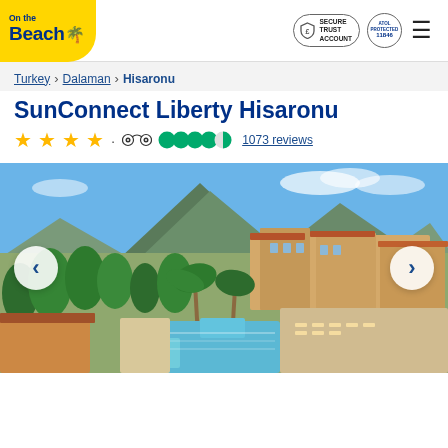[Figure (logo): On the Beach logo — yellow background with blue text and palm tree icon]
[Figure (infographic): Secure Trust Account badge with pound sign shield icon]
[Figure (logo): ATOL protected circular badge]
Turkey > Dalaman > Hisaronu
SunConnect Liberty Hisaronu
★★★★ · TripAdvisor 4.5 circles 1073 reviews
[Figure (photo): Aerial view of SunConnect Liberty Hisaronu hotel resort with swimming pool, palm trees, terracotta-roofed buildings, surrounding greenery and mountains in background under blue sky]